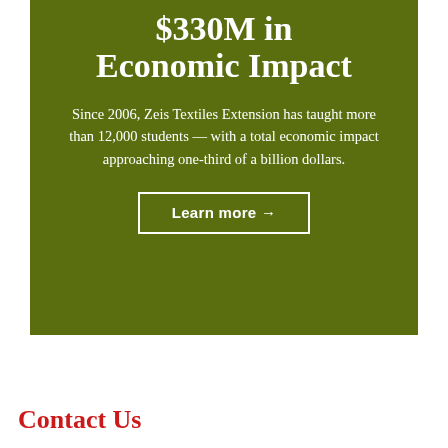$330M in Economic Impact
Since 2006, Zeis Textiles Extension has taught more than 12,000 students — with a total economic impact approaching one-third of a billion dollars.
Learn more →
Contact Us